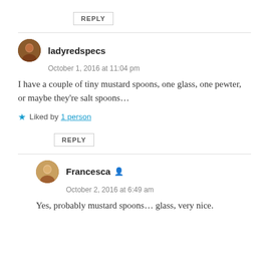REPLY
ladyredspecs
October 1, 2016 at 11:04 pm
I have a couple of tiny mustard spoons, one glass, one pewter, or maybe they’re salt spoons…
Liked by 1 person
REPLY
Francesca
October 2, 2016 at 6:49 am
Yes, probably mustard spoons… glass, very nice.